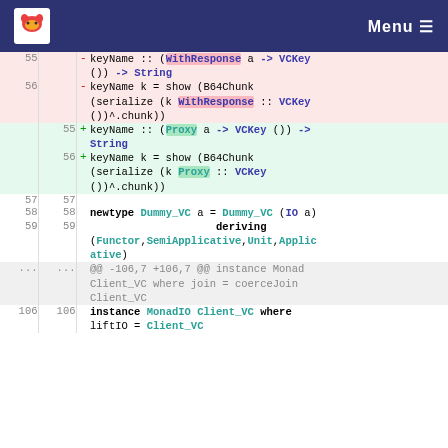Menu
[Figure (screenshot): Code diff view showing Haskell source changes replacing WithResponse with Proxy in keyName type signatures and implementations, plus newtype Dummy_VC and instance declarations.]